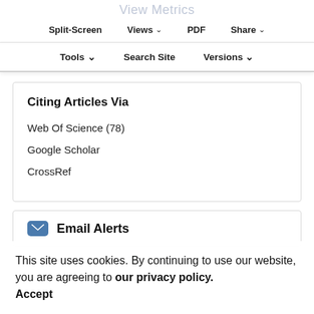View Metrics
Split-Screen   Views   PDF   Share
Tools   Search Site   Versions
Citing Articles Via
Web Of Science (78)
Google Scholar
CrossRef
Email Alerts
Article Activity Alert
TOC Alert
This site uses cookies. By continuing to use our website, you are agreeing to our privacy policy. Accept